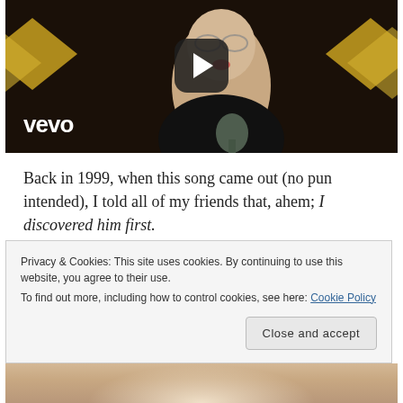[Figure (screenshot): Vevo video player thumbnail showing a man singing with diamonds in background and a play button overlay. Vevo logo in lower left.]
Back in 1999, when this song came out (no pun intended), I told all of my friends that, ahem; I discovered him first.
People made fun of my Menudo obsession back in the
Privacy & Cookies: This site uses cookies. By continuing to use this website, you agree to their use.
To find out more, including how to control cookies, see here: Cookie Policy
Close and accept
[Figure (photo): Bottom strip showing partial image, likely a person]